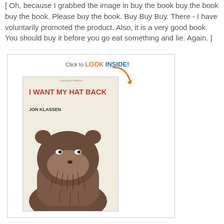[ Oh, because I grabbed the image in buy the book buy the book buy the book. Please buy the book. Buy Buy Buy. There - I have voluntarily promoted the product. Also, it is a very good book. You should buy it before you go eat something and lie. Again. ]
[Figure (illustration): Amazon-style book listing image showing the cover of 'I Want My Hat Back' by Jon Klassen, with a 'Click to LOOK INSIDE!' badge and orange arrow, and a large illustrated bear on a cream-colored book cover.]